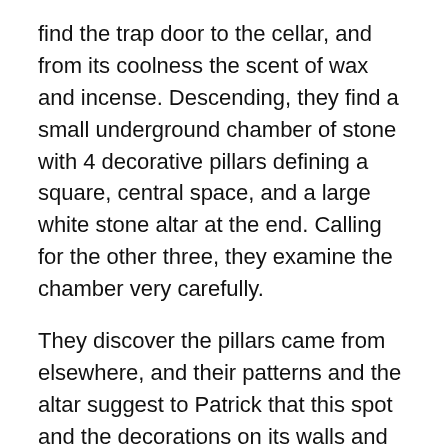find the trap door to the cellar, and from its coolness the scent of wax and incense. Descending, they find a small underground chamber of stone with 4 decorative pillars defining a square, central space, and a large white stone altar at the end. Calling for the other three, they examine the chamber very carefully.
They discover the pillars came from elsewhere, and their patterns and the altar suggest to Patrick that this spot and the decorations on its walls and ceiling owe a lot to Mithraism. He says so, but at the blank looks of the others he grows quiet, and simply says, “This place once belonged to a cult from at least Roman times.”
After more investigation and a final aha moment where they notice that not only do the pillars not touch the ceiling, but the altar does not actually touch the floor, they find a